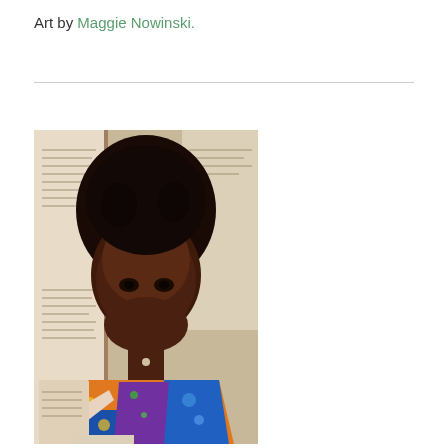Art by Maggie Nowinski.
[Figure (photo): Portrait photograph of a young Black woman with natural curly hair styled upward, wearing a colorful African print top in blue, orange, purple and yellow. She is surrounded by open books in the background, with pages visible around her. She looks directly at the camera with a serious expression.]